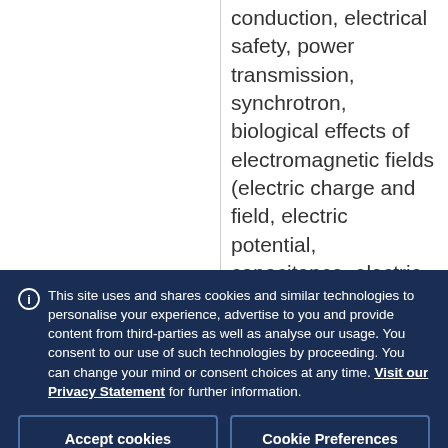conduction, electrical safety, power transmission, synchrotron, biological effects of electromagnetic fields (electric charge and field, electric potential, capacitance, electric
This site uses and shares cookies and similar technologies to personalise your experience, advertise to you and provide content from third-parties as well as analyse our usage. You consent to our use of such technologies by proceeding. You can change your mind or consent choices at any time. Visit our Privacy Statement for further information.